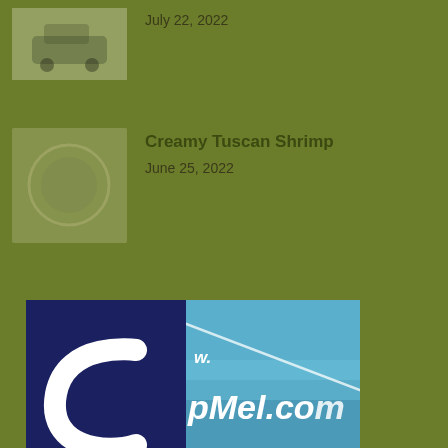[Figure (photo): Thumbnail image of a car, blurry/low quality, greenish tinted]
July 22, 2022
[Figure (photo): Thumbnail image with circular motif, faded greenish, appears to be food dish (shrimp)]
Creamy Tuscan Shrimp
June 25, 2022
[Figure (logo): CanMel.com banner ad: left side dark navy blue with white C-hook logo and www.CanMel.com text; right side shows water/fishing scene with text 'w. pMel.com' and 'a's #1 online fishing']